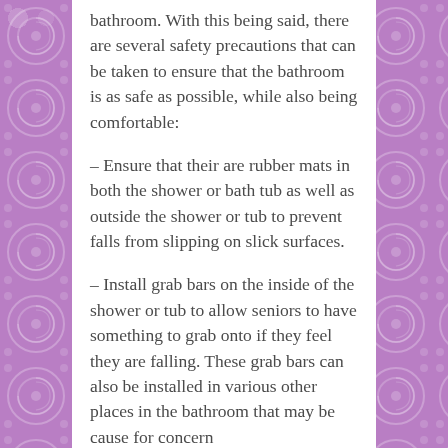bathroom. With this being said, there are several safety precautions that can be taken to ensure that the bathroom is as safe as possible, while also being comfortable:
– Ensure that their are rubber mats in both the shower or bath tub as well as outside the shower or tub to prevent falls from slipping on slick surfaces.
– Install grab bars on the inside of the shower or tub to allow seniors to have something to grab onto if they feel they are falling. These grab bars can also be installed in various other places in the bathroom that may be cause for concern…